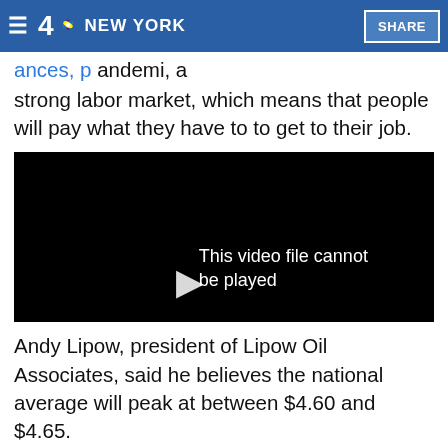4 NBC NEW YORK | SHARE
strong labor market, which means that people will pay what they have to to get to their job.
[Figure (screenshot): Black video player with text overlay reading 'This video file cannot be played' and a play button arrow icon.]
Andy Lipow, president of Lipow Oil Associates, said he believes the national average will peak at between $4.60 and $4.65.
He noted that the sell-off in stocks has dragged gasoline